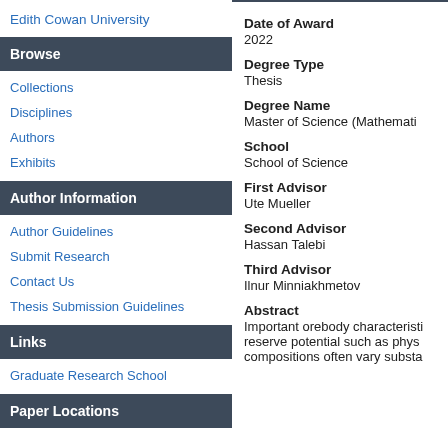Edith Cowan University
Browse
Collections
Disciplines
Authors
Exhibits
Author Information
Author Guidelines
Submit Research
Contact Us
Thesis Submission Guidelines
Links
Graduate Research School
Paper Locations
Date of Award
2022
Degree Type
Thesis
Degree Name
Master of Science (Mathemati…
School
School of Science
First Advisor
Ute Mueller
Second Advisor
Hassan Talebi
Third Advisor
Ilnur Minniakhmetov
Abstract
Important orebody characteristi… reserve potential such as phys… compositions often vary substa…